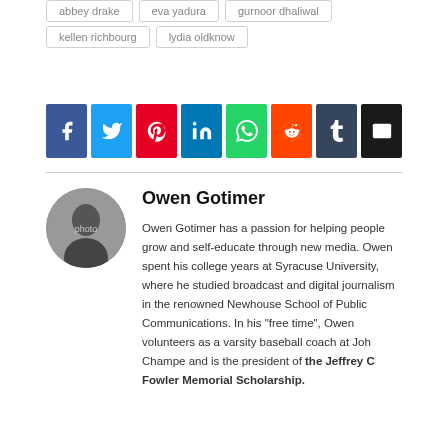abbey drake
eva yadura
gurnoor dhaliwal
kellen richbourg
lydia oldknow
[Figure (other): Social sharing buttons: Facebook, Twitter, Pinterest, LinkedIn, WhatsApp, Reddit, Tumblr, Email]
Owen Gotimer
[Figure (photo): Circular profile photo of Owen Gotimer]
Owen Gotimer has a passion for helping people grow and self-educate through new media. Owen spent his college years at Syracuse University, where he studied broadcast and digital journalism in the renowned Newhouse School of Public Communications. In his "free time", Owen volunteers as a varsity baseball coach at John Champe and is the president of the Jeffrey C. Fowler Memorial Scholarship.